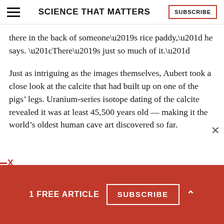SCIENCE THAT MATTERS
there in the back of someone’s rice paddy,” he says. “There’s just so much of it.”
Just as intriguing as the images themselves, Aubert took a close look at the calcite that had built up on one of the pigs’ legs. Uranium-series isotope dating of the calcite revealed it was at least 45,500 years old — making it the world’s oldest human cave art discovered so far.
1 FREE ARTICLE  SUBSCRIBE